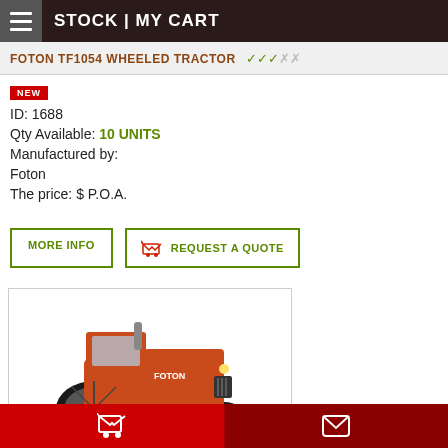STOCK | MY CART
FOTON TF1054 WHEELED TRACTOR
NEW
ID: 1688
Qty Available: 10 UNITS
Manufactured by:
Foton
The price: $ P.O.A.
[Figure (screenshot): MORE INFO button and REQUEST A QUOTE button with cart icon]
[Figure (photo): Orange Foton TF1054 wheeled tractor on white background]
Cart icon | Envelope icon